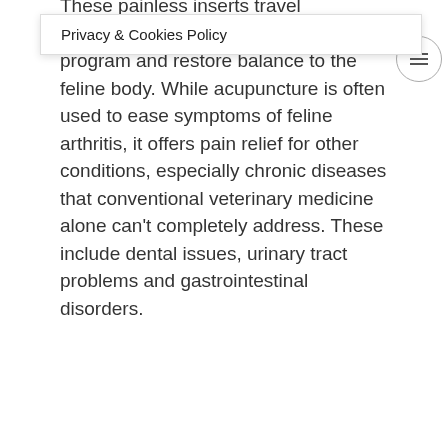These painless inserts travel throughout the nervous system to help program and restore balance to the feline body. While acupuncture is often used to ease symptoms of feline arthritis, it offers pain relief for other conditions, especially chronic diseases that conventional veterinary medicine alone can't completely address. These include dental issues, urinary tract problems and gastrointestinal disorders.
Alternative Pain Relief for Cats
This FDA-approved muscle-relaxant drug is ideal for cats who suffer from tremors which can cause pain in specific areas of the body. It works to help stop shaking and give your cat relief from the constant